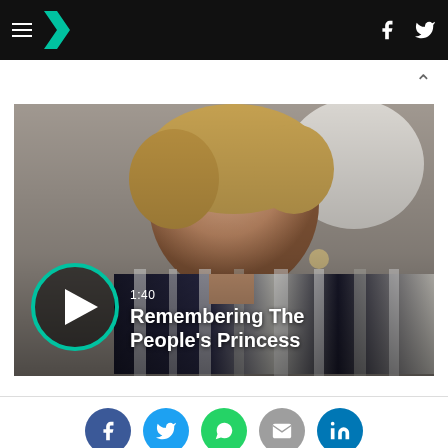HuffPost navigation bar with hamburger menu, logo, Facebook and Twitter icons
[Figure (screenshot): Video thumbnail showing Princess Diana smiling, with teal play button circle and text overlay '1:40 Remembering The People's Princess']
1:40
Remembering The People's Princess
[Figure (infographic): Social sharing icons row: Facebook (blue), Twitter (light blue), WhatsApp (green), Email (grey), LinkedIn (teal-blue)]